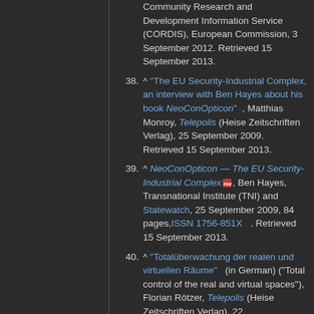Community Research and Development Information Service (CORDIS), European Commission, 3 September 2012. Retrieved 15 September 2013.
38. ^ "The EU Security-Industrial Complex, an interview with Ben Hayes about his book NeoConOpticon", Matthias Monroy, Telepolis (Heise Zeitschriften Verlag), 25 September 2009. Retrieved 15 September 2013.
39. ^ NeoConOpticon — The EU Security-Industrial Complex [PDF], Ben Hayes, Transnational Institute (TNI) and Statewatch, 25 September 2009, 84 pages, ISSN 1756-851X. Retrieved 15 September 2013.
40. ^ "Totalüberwachung der realen und virtuellen Räume" (in German) ("Total control of the real and virtual spaces"), Florian Rötzer, Telepolis (Heise Zeitschriften Verlag), 22